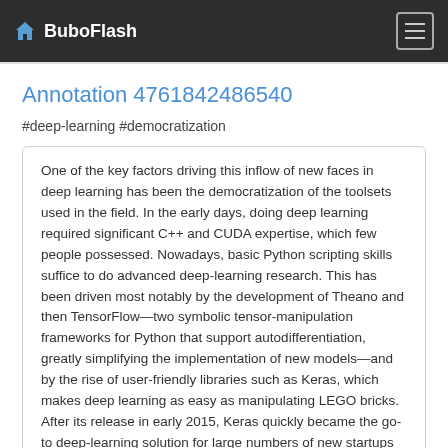BuboFlash
Annotation 4761842486540
#deep-learning #democratization
One of the key factors driving this inflow of new faces in deep learning has been the democratization of the toolsets used in the field. In the early days, doing deep learning required significant C++ and CUDA expertise, which few people possessed. Nowadays, basic Python scripting skills suffice to do advanced deep-learning research. This has been driven most notably by the development of Theano and then TensorFlow—two symbolic tensor-manipulation frameworks for Python that support autodifferentiation, greatly simplifying the implementation of new models—and by the rise of user-friendly libraries such as Keras, which makes deep learning as easy as manipulating LEGO bricks. After its release in early 2015, Keras quickly became the go-to deep-learning solution for large numbers of new startups